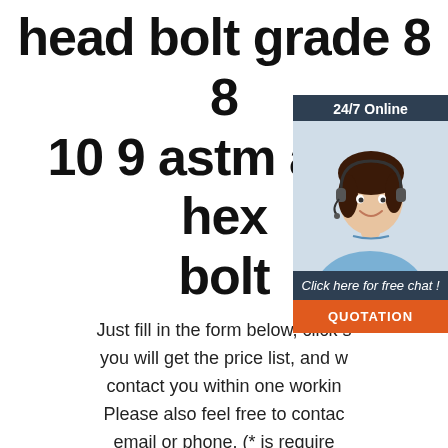head bolt grade 8 8 10 9 astm a449 hex bolt
Just fill in the form below, click submit, you will get the price list, and we will contact you within one working day. Please also feel free to contact us via email or phone. (* is required)
[Figure (photo): Customer service representative with headset, smiling. Overlay shows '24/7 Online', 'Click here for free chat!', and a 'QUOTATION' button.]
* Name:
* Email:
Please Enter Other Contact Information